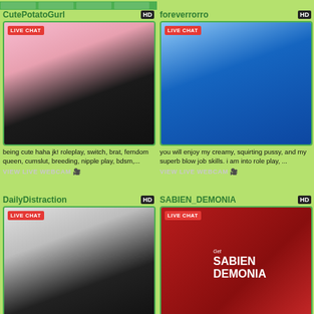[Figure (screenshot): Top navigation bar with green tabs]
CutePotatoGurl
[Figure (photo): Live chat thumbnail of CutePotatoGurl with LIVE CHAT badge]
being cute haha jk! roleplay, switch, brat, femdom queen, cumslut, breeding, nipple play, bdsm,...
VIEW LIVE WEBCAM
foreverrorro
[Figure (photo): Live chat thumbnail of foreverrorro with LIVE CHAT badge]
you will enjoy my creamy, squirting pussy, and my superb blow job skills. i am into role play, ...
VIEW LIVE WEBCAM
DailyDistraction
[Figure (photo): Live chat thumbnail of DailyDistraction with LIVE CHAT badge]
SABIEN_DEMONIA
[Figure (photo): Live chat thumbnail of SABIEN_DEMONIA with LIVE CHAT badge, shows Sabien Demonia branding]